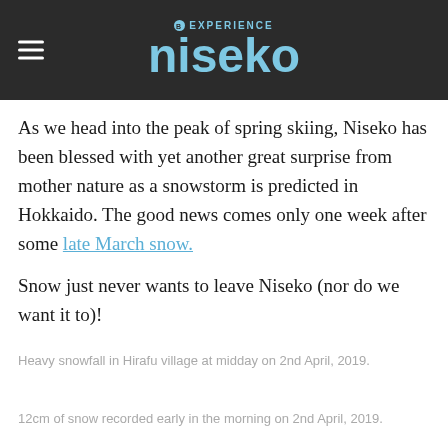EXPERIENCE niseko
As we head into the peak of spring skiing, Niseko has been blessed with yet another great surprise from mother nature as a snowstorm is predicted in Hokkaido. The good news comes only one week after some late March snow.
Snow just never wants to leave Niseko (nor do we want it to)!
Heavy snowfall in Hirafu village at midday on 2nd April, 2019.
12cm of snow recorded early in the morning on 2nd April, 2019.